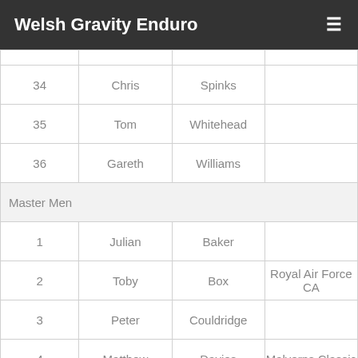Welsh Gravity Enduro
| # | First | Last | Club |
| --- | --- | --- | --- |
| 34 | Chris | Spinks |  |
| 35 | Tom | Whitehead |  |
| 36 | Gareth | Williams |  |
| Master Men |  |  |  |
| 1 | Julian | Baker |  |
| 2 | Toby | Box | Royal Air Force CA |
| 3 | Peter | Couldridge |  |
| 4 | Matthew | Davies | Malverns Classic |
| 5 | Ben | Deakin |  |